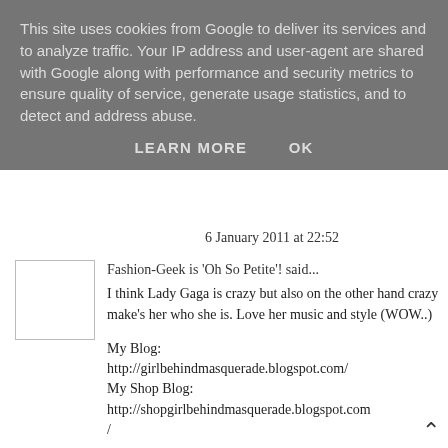This site uses cookies from Google to deliver its services and to analyze traffic. Your IP address and user-agent are shared with Google along with performance and security metrics to ensure quality of service, generate usage statistics, and to detect and address abuse.
LEARN MORE   OK
6 January 2011 at 22:52
Fashion-Geek is 'Oh So Petite'! said...
I think Lady Gaga is crazy but also on the other hand crazy make's her who she is. Love her music and style (WOW..)

My Blog: http://girlbehindmasquerade.blogspot.com/
My Shop Blog: http://shopgirlbehindmasquerade.blogspot.com/
6 January 2011 at 23:59
Francesca Robertson said...
love her hair in the last pic
7 January 2011 at 00:24